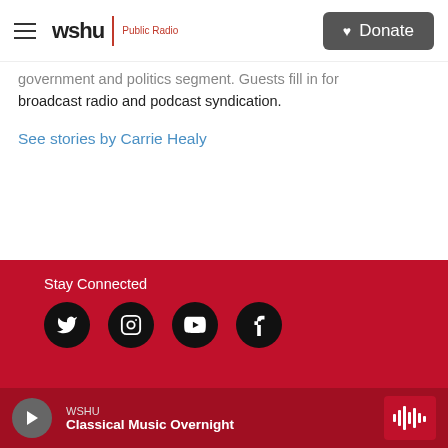wshu Public Radio — Donate
government and politics segment. Guests fill in for broadcast radio and podcast syndication.
See stories by Carrie Healy
Stay Connected
[Figure (infographic): Social media icons: Twitter, Instagram, YouTube, Facebook as black circles on red background]
WSHU Classical Music Overnight